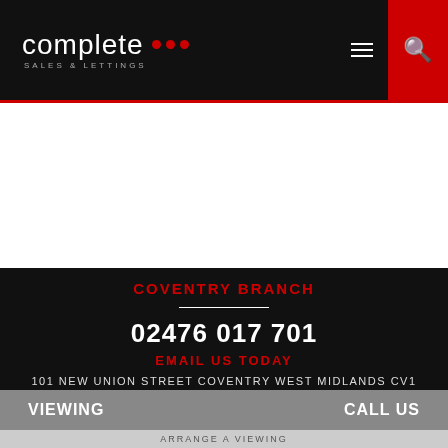complete SALES & LETTINGS — MENU [search]
COVENTRY BRANCH
02476 017 701
EMAIL US TODAY
101 NEW UNION STREET COVENTRY WEST MIDLANDS CV1 2NT
VIEWING   CALL US
ARRANGE A VIEWING